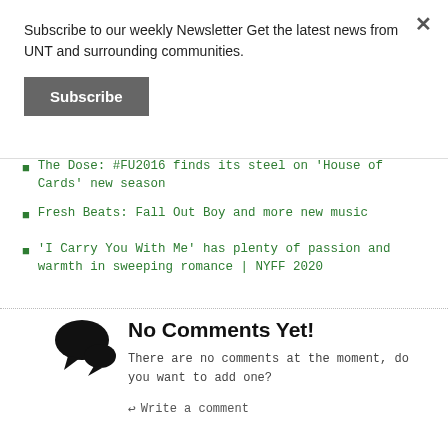Subscribe to our weekly Newsletter Get the latest news from UNT and surrounding communities.
Subscribe
The Dose: #FU2016 finds its steel on 'House of Cards' new season
Fresh Beats: Fall Out Boy and more new music
'I Carry You With Me' has plenty of passion and warmth in sweeping romance | NYFF 2020
No Comments Yet!
There are no comments at the moment, do you want to add one?
Write a comment